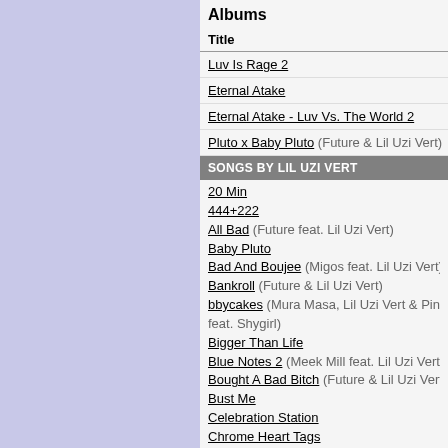Albums
| Title |
| --- |
| Luv Is Rage 2 |
| Eternal Atake |
| Eternal Atake - Luv Vs. The World 2 |
| Pluto x Baby Pluto (Future & Lil Uzi Vert) |
SONGS BY LIL UZI VERT
20 Min
444+222
All Bad (Future feat. Lil Uzi Vert)
Baby Pluto
Bad And Boujee (Migos feat. Lil Uzi Vert)
Bankroll (Future & Lil Uzi Vert)
bbycakes (Mura Masa, Lil Uzi Vert & PinkPantheress feat. Shygirl)
Bigger Than Life
Blue Notes 2 (Meek Mill feat. Lil Uzi Vert)
Bought A Bad Bitch (Future & Lil Uzi Vert)
Bust Me
Celebration Station
Chrome Heart Tags
Commercial (Lil Baby feat. Lil Uzi Vert)
Dark Queen
Diamonds All On My Wrist
Die For A Man (Bebe Rexha feat. Lil Uzi Vert)
Do What I Want
Drankin N Smokin (Future & Lil Uzi Vert)
Early 20 Rager
Erase Your Social
Feelings Mutual
For Real
Free Lighter (2 Chainz feat. Lil Uzi Vert & Chief Keef)
From The Garden (Isaiah Rashad feat. Lil Uzi Vert)
Froze (Meek Mill feat. Lil Uzi Vert & Nicki Minaj)